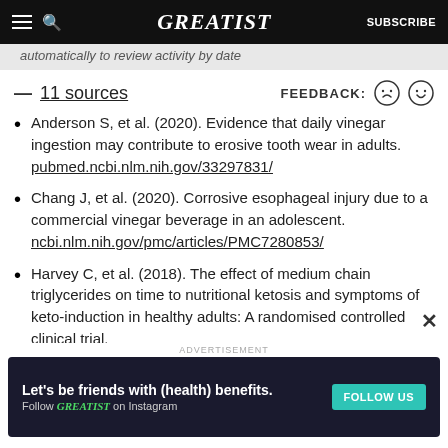GREATIST | SUBSCRIBE
automatically to review activity by date
— 11 sources    FEEDBACK:
Anderson S, et al. (2020). Evidence that daily vinegar ingestion may contribute to erosive tooth wear in adults. pubmed.ncbi.nlm.nih.gov/33297831/
Chang J, et al. (2020). Corrosive esophageal injury due to a commercial vinegar beverage in an adolescent. ncbi.nlm.nih.gov/pmc/articles/PMC7280853/
Harvey C, et al. (2018). The effect of medium chain triglycerides on time to nutritional ketosis and symptoms of keto-induction in healthy adults: A randomised controlled clinical trial. ncbi.nlm.nih.gov/pmc/articles/PMC5987309/
ADVERTISEMENT Let's be friends with (health) benefits. Follow GREATIST on Instagram FOLLOW US